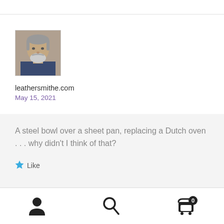[Figure (photo): Profile photo of a middle-aged man with a white beard and gray hair]
leathersmithe.com
May 15, 2021
A steel bowl over a sheet pan, replacing a Dutch oven . . . why didn't I think of that?
Like
[Figure (screenshot): Bottom navigation bar with person icon, search icon, and cart icon with badge showing 0]